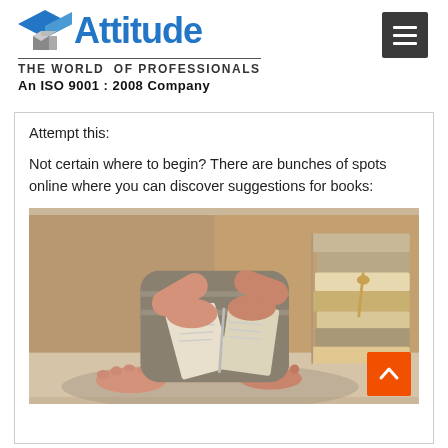[Figure (logo): Attitude logo with graduation cap icon, blue text reading 'Attitude', subtitle 'The World Of Professionals', and 'An ISO 9001 : 2008 Company']
Attempt this:
Not certain where to begin? There are bunches of spots online where you can discover suggestions for books:
[Figure (photo): Child sitting cross-legged reading a book with bare feet, surrounded by stacked books]